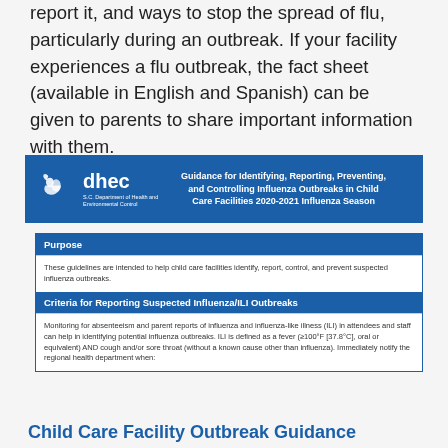report it, and ways to stop the spread of flu, particularly during an outbreak. If your facility experiences a flu outbreak, the fact sheet (available in English and Spanish) can be given to parents to share important information with them.
[Figure (other): DHEC banner with logo on left and title 'Guidance for Identifying, Reporting, Preventing, and Controlling Influenza Outbreaks in Child Care Facilities 2020-2021 Influenza Season' on right, blue background with white text.]
| Purpose |  |
| These guidelines are intended to help child care facilities identify, report, control, and prevent suspected influenza outbreaks. |  |
| Criteria for Reporting Suspected Influenza/ILI Outbreaks |  |
| Monitoring for absenteeism and parent reports of influenza and influenza-like illness (ILI) in attendees and staff can help in identifying potential influenza outbreaks. ILI is defined as a fever (≥100°F [37.8°C], oral or equivalent) AND cough and/or sore throat (without a known cause other than influenza). Immediately notify the regional health department when: |  |
Child Care Facility Outbreak Guidance